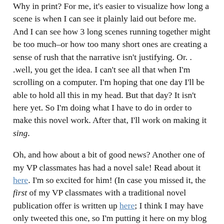Why in print? For me, it's easier to visualize how long a scene is when I can see it plainly laid out before me. And I can see how 3 long scenes running together might be too much–or how too many short ones are creating a sense of rush that the narrative isn't justifying. Or. . .well, you get the idea. I can't see all that when I'm scrolling on a computer. I'm hoping that one day I'll be able to hold all this in my head. But that day? It isn't here yet. So I'm doing what I have to do in order to make this novel work. After that, I'll work on making it sing.
Oh, and how about a bit of good news? Another one of my VP classmates has had a novel sale! Read about it here. I'm so excited for him! (In case you missed it, the first of my VP classmates with a traditional novel publication offer is written up here; I think I may have only tweeted this one, so I'm putting it here on my blog where it belongs now.)